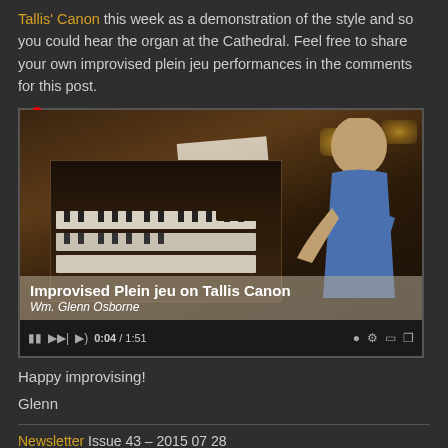Tallis' Canon this week as a demonstration of the style and so you could hear the organ at the Cathedral. Feel free to share your own improvised plein jeu performances in the comments for this post.
[Figure (screenshot): Embedded YouTube video showing a man playing a large pipe organ console, with sheet music on the stand. Overlay text reads 'Improvised Plein jeu on Tallis Canon' and 'Wm. Glenn Osborne'. Video controls show 0:04 / 1:51.]
Happy improvising!
Glenn
Newsletter Issue 43 – 2015 07 28